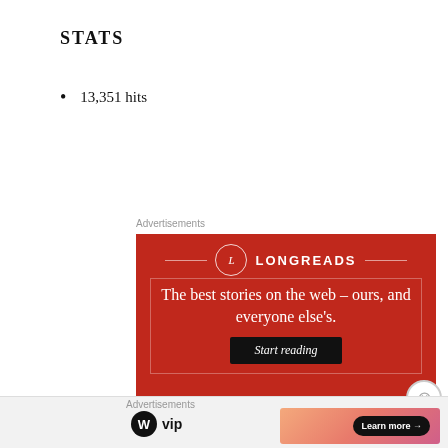STATS
13,351 hits
Advertisements
[Figure (illustration): Longreads advertisement banner with red background. Shows a circular 'L' logo, the text 'LONGREADS', tagline 'The best stories on the web – ours, and everyone else's.', and a black 'Start reading' button.]
Advertisements
[Figure (logo): WordPress VIP logo (WP circle icon + 'vip' text) alongside a gradient orange-pink banner with a 'Learn more →' button]